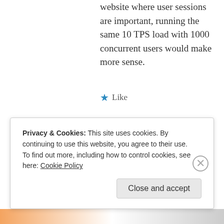whereas, in case not banking website where user sessions are important, running the same 10 TPS load with 1000 concurrent users would make more sense.
★ Like
[Figure (illustration): Avatar icon for user Santiago — a blue octagon shape with stylized face]
Santiago
August 7, 2014 at 12:56 am
Hi Dinesh
Privacy & Cookies: This site uses cookies. By continuing to use this website, you agree to their use.
To find out more, including how to control cookies, see here: Cookie Policy
Close and accept